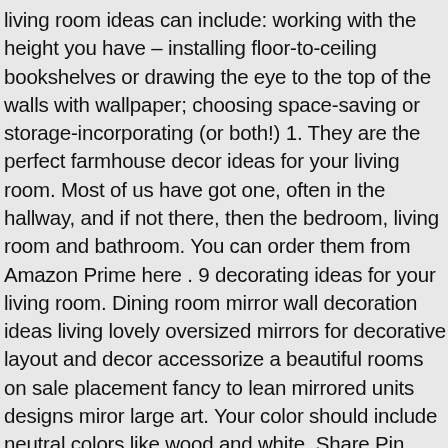living room ideas can include: working with the height you have – installing floor-to-ceiling bookshelves or drawing the eye to the top of the walls with wallpaper; choosing space-saving or storage-incorporating (or both!) 1. They are the perfect farmhouse decor ideas for your living room. Most of us have got one, often in the hallway, and if not there, then the bedroom, living room and bathroom. You can order them from Amazon Prime here . 9 decorating ideas for your living room. Dining room mirror wall decoration ideas living lovely oversized mirrors for decorative layout and decor accessorize a beautiful rooms on sale placement fancy to lean mirrored units designs miror large art. Your color should include neutral colors like wood and white. Share Pin Share. Use these gorgeous modern living room ideas, even if you have a small living room or lounge, as a starting point for your living room design decorating project. Nautical Ranch Living Room. You can use them to add height and texture to your farmhouse shelving , or hung on either side of a farmhouse mirror to help decorate large walls. Mirror Ideas For Your Living Room.